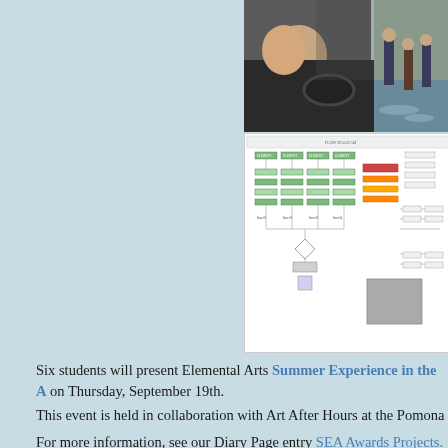[Figure (photo): Composite of two photos: left shows people laughing in a car, right shows people wading in flood water]
[Figure (schematic): Complex flowchart/diagram with colored boxes and connecting lines, appearing to be a project planning or process diagram]
Six students will present Elemental Arts Summer Experience in the A on Thursday, September 19th.
This event is held in collaboration with Art After Hours at the Pomona
For more information, see our Diary Page entry SEA Awards Projects.